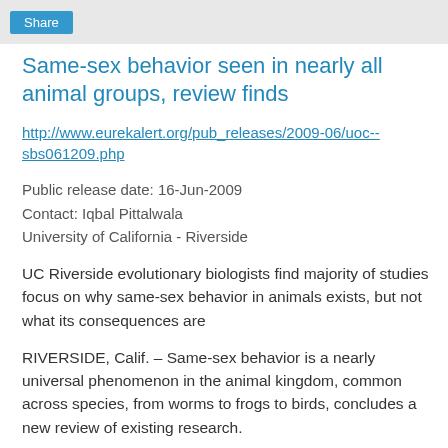Share
Same-sex behavior seen in nearly all animal groups, review finds
http://www.eurekalert.org/pub_releases/2009-06/uoc--sbs061209.php
Public release date: 16-Jun-2009
Contact: Iqbal Pittalwala
University of California - Riverside
UC Riverside evolutionary biologists find majority of studies focus on why same-sex behavior in animals exists, but not what its consequences are
RIVERSIDE, Calif. – Same-sex behavior is a nearly universal phenomenon in the animal kingdom, common across species, from worms to frogs to birds, concludes a new review of existing research.